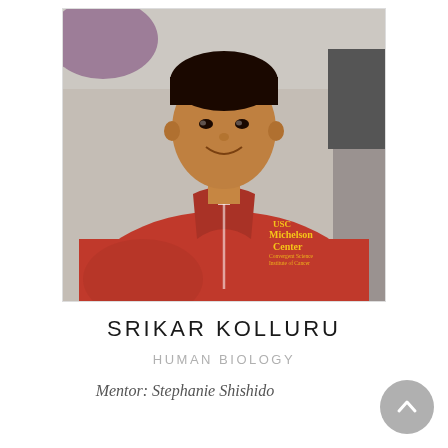[Figure (photo): Head and shoulders photo of a young man wearing a red USC Michelson Center zip-up jacket, smiling, with a blurred background]
SRIKAR KOLLURU
HUMAN BIOLOGY
Mentor: Stephanie Shishido